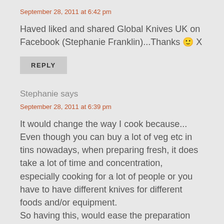September 28, 2011 at 6:42 pm
Haved liked and shared Global Knives UK on Facebook (Stephanie Franklin)...Thanks 🙂 X
REPLY
Stephanie says
September 28, 2011 at 6:39 pm
It would change the way I cook because... Even though you can buy a lot of veg etc in tins nowadays, when preparing fresh, it does take a lot of time and concentration, especially cooking for a lot of people or you have to have different knives for different foods and/or equipment. So having this, would ease the preparation and also, save money in the long run, as different knives, equipment etc may not be needed!